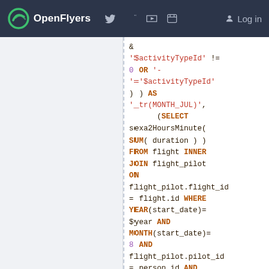OpenFlyers | Log in
& '$activityTypeId' != 0 OR '-'='$activityTypeId' ) ) AS '_tr(MONTH_JUL)', (SELECT sexa2HoursMinute( SUM( duration ) ) FROM flight INNER JOIN flight_pilot ON flight_pilot.flight_id = flight.id WHERE YEAR(start_date)= $year AND MONTH(start_date)= 8 AND flight_pilot.pilot_id = person.id AND flight_pilot.num = 1 AND ( flight.activity_type_id & '$activityTypeId' != 0 OR '-'='$activityTypeId'